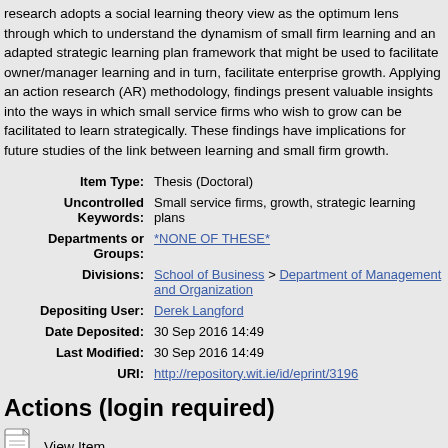research adopts a social learning theory view as the optimum lens through which to understand the dynamism of small firm learning and an adapted strategic learning plan framework that might be used to facilitate owner/manager learning and in turn, facilitate enterprise growth. Applying an action research (AR) methodology, findings present valuable insights into the ways in which small service firms who wish to grow can be facilitated to learn strategically. These findings have implications for future studies of the link between learning and small firm growth.
| Field | Value |
| --- | --- |
| Item Type: | Thesis (Doctoral) |
| Uncontrolled Keywords: | Small service firms, growth, strategic learning plans |
| Departments or Groups: | *NONE OF THESE* |
| Divisions: | School of Business > Department of Management and Organization |
| Depositing User: | Derek Langford |
| Date Deposited: | 30 Sep 2016 14:49 |
| Last Modified: | 30 Sep 2016 14:49 |
| URI: | http://repository.wit.ie/id/eprint/3196 |
Actions (login required)
View Item